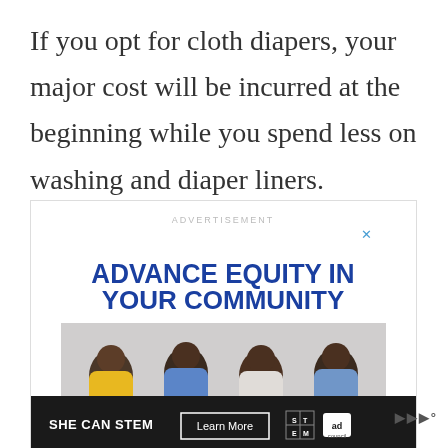If you opt for cloth diapers, your major cost will be incurred at the beginning while you spend less on washing and diaper liners.
[Figure (infographic): Advertisement banner for 'SHE CAN STEM' campaign by Ad Council. Large heading reads 'ADVANCE EQUITY IN YOUR COMMUNITY' in bold dark blue. Photo of four smiling young adults of African descent. Bottom bar shows 'SHE CAN STEM' logo, 'Learn More' button, STEM grid logo, and Ad Council logo. Close button (X) in top right. Heart and share buttons on right side.]